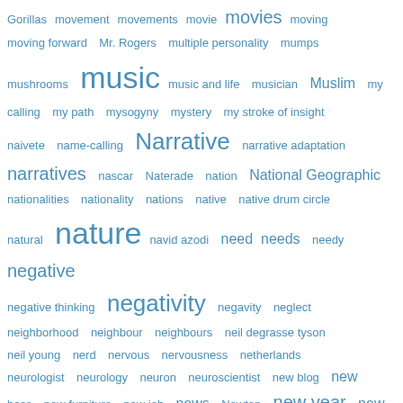[Figure (other): Tag cloud of words and phrases starting with letters G through N, displayed in varying font sizes in blue color indicating frequency/relevance. Terms include: Gorillas, movement, movements, movie, movies, moving, moving forward, Mr. Rogers, multiple personality, mumps, mushrooms, music, music and life, musician, Muslim, my calling, my path, mysogyny, mystery, my stroke of insight, naivete, name-calling, Narrative, narrative adaptation, narratives, nascar, Naterade, nation, National Geographic, nationalities, nationality, nations, native, native drum circle, natural, nature, navid azodi, need, needs, needy, negative, negative thinking, negativity, negavity, neglect, neighborhood, neighbour, neighbours, neil degrasse tyson, neil young, nerd, nervous, nervousness, netherlands, neurologist, neurology, neuron, neuroscientist, new blog, new boss, new furniture, new job, news, Newton, new year, new years, new york times, Nicholas James Vujicic, nigel, nigel mansell, nigel standford, night, nina, Nineteen Eighty Four, niqab, nirvana, no complaints, nonviolence, nordic, normal, north america, norway, Norwegian, no second thoughts, nothing, notice, nourish, Nouveau Parfum, november 11th, now, no worries, nuclear, numbers, nun, nurse, nurses]